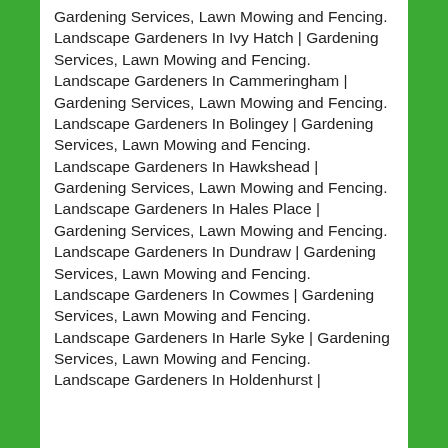Gardening Services, Lawn Mowing and Fencing.
Landscape Gardeners In Ivy Hatch | Gardening Services, Lawn Mowing and Fencing.
Landscape Gardeners In Cammeringham | Gardening Services, Lawn Mowing and Fencing.
Landscape Gardeners In Bolingey | Gardening Services, Lawn Mowing and Fencing.
Landscape Gardeners In Hawkshead | Gardening Services, Lawn Mowing and Fencing.
Landscape Gardeners In Hales Place | Gardening Services, Lawn Mowing and Fencing.
Landscape Gardeners In Dundraw | Gardening Services, Lawn Mowing and Fencing.
Landscape Gardeners In Cowmes | Gardening Services, Lawn Mowing and Fencing.
Landscape Gardeners In Harle Syke | Gardening Services, Lawn Mowing and Fencing.
Landscape Gardeners In Holdenhurst |